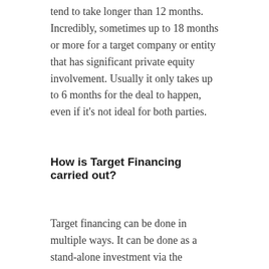tend to take longer than 12 months. Incredibly, sometimes up to 18 months or more for a target company or entity that has significant private equity involvement. Usually it only takes up to 6 months for the deal to happen, even if it's not ideal for both parties.
How is Target Financing carried out?
Target financing can be done in multiple ways. It can be done as a stand-alone investment via the investor buying shares directly from the targeted company or it can be done as part of a larger deal through an IPO. There are many variations on the deal, but the main thing is to find someone who will buy your company outright. That means no other investors are involved in it besides the potential